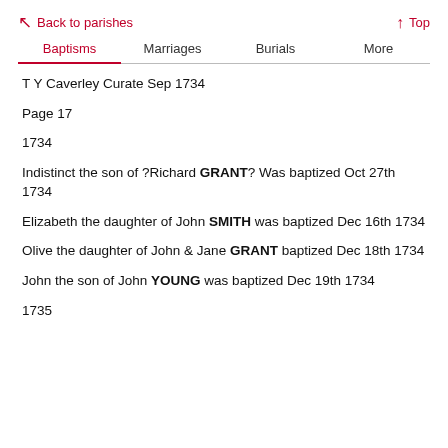← Back to parishes   ↑ Top
Baptisms | Marriages | Burials | More
T Y Caverley Curate Sep 1734
Page 17
1734
Indistinct the son of ?Richard GRANT? Was baptized Oct 27th 1734
Elizabeth the daughter of John SMITH was baptized Dec 16th 1734
Olive the daughter of John & Jane GRANT baptized Dec 18th 1734
John the son of John YOUNG was baptized Dec 19th 1734
1735